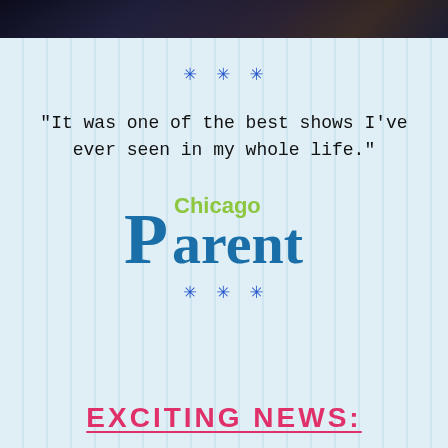[Figure (photo): Dark photograph strip at the top of the page]
* * *
"It was one of the best shows I've ever seen in my whole life."
[Figure (logo): Chicago Parent magazine logo with blue 'Parent' text and green 'Chicago' text]
* * *
EXCITING NEWS: